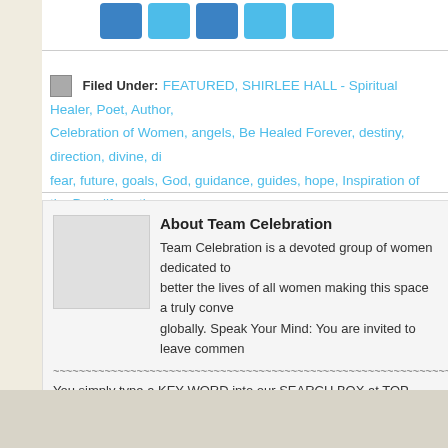[Figure (other): Social sharing icons: Facebook, Twitter, LinkedIn, Email, Plus/Share buttons]
Filed Under: FEATURED, SHIRLEE HALL - Spiritual Healer, Poet, Author, Celebration of Women, angels, Be Healed Forever, destiny, direction, divine, di... fear, future, goals, God, guidance, guides, hope, Inspiration of the Day, life path... purpose, SHIRLEE hALL, spirituality, strength, vision, visionary, Who Am I?, wo...
About Team Celebration
Team Celebration is a devoted group of women dedicated to better the lives of all women making this space a truly conve... globally. Speak Your Mind: You are invited to leave commen...
You simply type a KEY WORD into our SEARCH BOX at TOP RIGHT of Hom... associated topic articles offering truly educational and informative features wi...